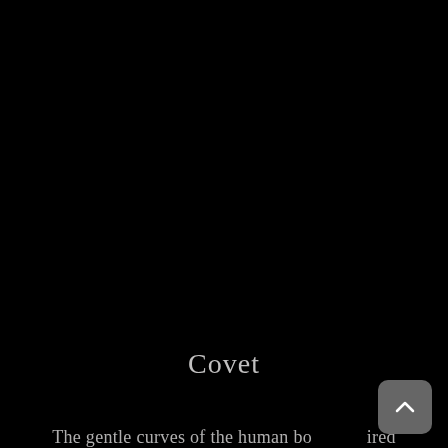[Figure (photo): Dark black background occupying the upper portion of the page, likely a dark artistic photograph or illustration with no distinguishable features visible.]
Covet
The gentle curves of the human bo… pired